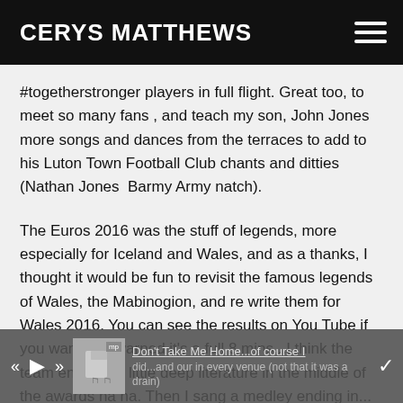CERYS MATTHEWS
#togetherstronger players in full flight. Great too, to meet so many fans , and teach my son, John Jones more songs and dances from the terraces to add to his Luton Town Football Club chants and ditties (Nathan Jones Barmy Army natch).
The Euros 2016 was the stuff of legends, more especially for Iceland and Wales, and as a thanks, I thought it would be fun to revisit the famous legends of Wales, the Mabinogion, and re write them for Wales 2016. You can see the results on You Tube if you want...be warned it's a full 8 mins...I think the team enjoyed a little deep literature in the middle of the awards ha ha. Then I sang a medley ending in... Don't Take Me Home...of course I did...and our in every venue (not that it was a drain)
[Figure (screenshot): Media player overlay at bottom of screen showing playback controls (rewind, play, fast-forward), a music thumbnail, song title 'Don't Take Me Home' underlined, and a forward arrow.]